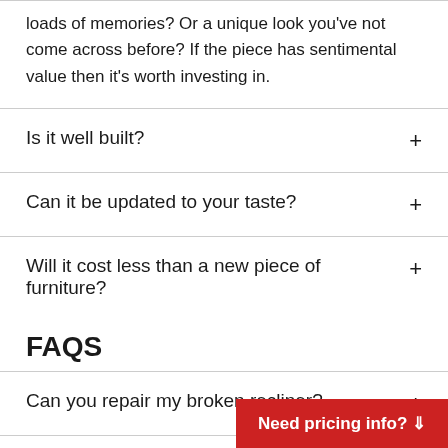loads of memories? Or a unique look you've not come across before? If the piece has sentimental value then it's worth investing in.
Is it well built?
Can it be updated to your taste?
Will it cost less than a new piece of furniture?
FAQS
Can you repair my broken recliner?
Can you replace the foam in my cushions?
Need pricing info? ⇓